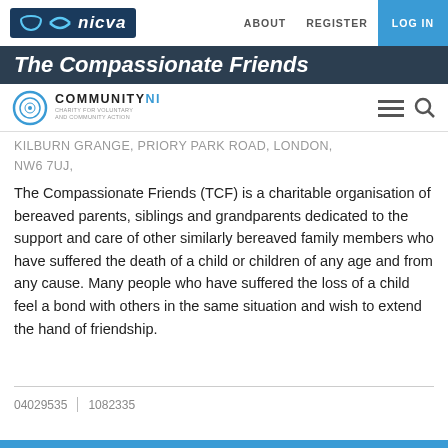nicva | ABOUT  REGISTER  LOG IN
The Compassionate Friends
[Figure (logo): CommunityNI charity logo with circular icon]
KILBURN GRANGE, PRIORY PARK ROAD, LONDON, NW6 7UJ,
The Compassionate Friends (TCF) is a charitable organisation of bereaved parents, siblings and grandparents dedicated to the support and care of other similarly bereaved family members who have suffered the death of a child or children of any age and from any cause. Many people who have suffered the loss of a child feel a bond with others in the same situation and wish to extend the hand of friendship.
04029535  |  1082335